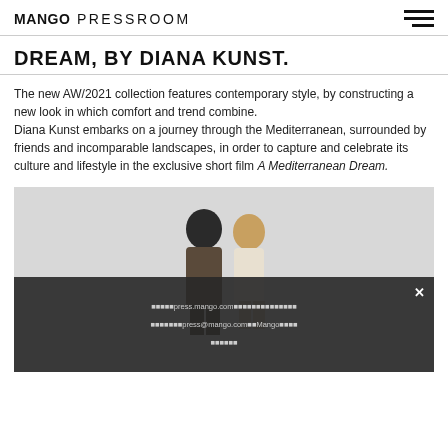MANGO PRESSROOM
DREAM, BY DIANA KUNST.
The new AW/2021 collection features contemporary style, by constructing a new look in which comfort and trend combine.
Diana Kunst embarks on a journey through the Mediterranean, surrounded by friends and incomparable landscapes, in order to capture and celebrate its culture and lifestyle in the exclusive short film A Mediterranean Dream.
[Figure (photo): Photo of two women in fashion clothing with a dark popup overlay showing contact info: press.mango.com, press@mango.com, Mango]
press.mango.com | press@mango.com | Mango